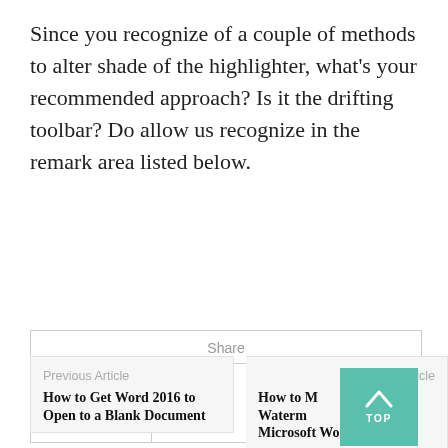Since you recognize of a couple of methods to alter shade of the highlighter, what's your recommended approach? Is it the drifting toolbar? Do allow us recognize in the remark area listed below.
[Figure (other): Share widget with Facebook, Twitter, and Pinterest icons in bordered cells]
Previous Article
How to Get Word 2016 to Open to a Blank Document
Next Article
How to Make a Watermark in Microsoft Word